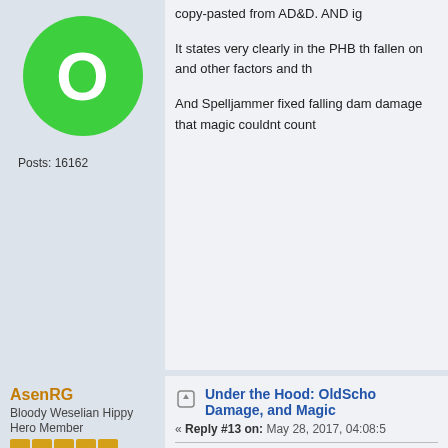[Figure (illustration): Green circle avatar with white letter O]
Posts: 16162
copy-pasted from AD&D. AND ig
It states very clearly in the PHB th fallen on and other factors and th
And Spelljammer fixed falling dam damage that magic couldnt count
AsenRG
Bloody Weselian Hippy
Hero Member
[Figure (illustration): Axe weapon avatar image]
Posts: 5036
Under the Hood: OldScho Damage, and Magic
« Reply #13 on: May 28, 2017, 04:08:5
The problem is in assuming that a As the OP said himself, the aesth you could claim you braved botto kung-fu masters that routinely de But make that pit 30 feet deep, a from a fall in a 10-feet deep pit i
What Do You Do In Tekumel? See exa
"Life is not fair. If the campaign setting i